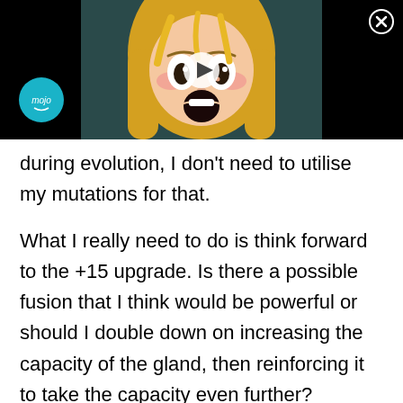[Figure (screenshot): Video thumbnail showing an anime girl with blonde hair and wide open mouth/eyes, with a play button overlay, a 'mojo' badge in the lower left, and a close (X) button in the upper right corner. The background is black.]
during evolution, I don't need to utilise my mutations for that.
What I really need to do is think forward to the +15 upgrade. Is there a possible fusion that I think would be powerful or should I double down on increasing the capacity of the gland, then reinforcing it to take the capacity even further?
Personally, I like the idea of having more